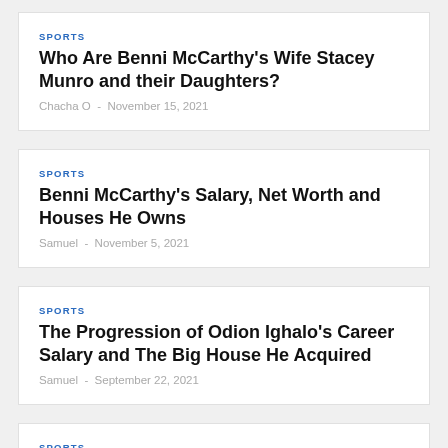SPORTS
Who Are Benni McCarthy's Wife Stacey Munro and their Daughters?
Chacha O  -  November 15, 2021
SPORTS
Benni McCarthy's Salary, Net Worth and Houses He Owns
Samuel  -  November 5, 2021
SPORTS
The Progression of Odion Ighalo's Career Salary and The Big House He Acquired
Samuel  -  September 22, 2021
SPORTS